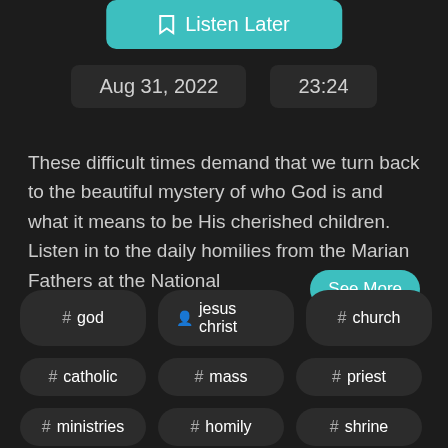[Figure (screenshot): Listen Later button with teal/cyan background and bookmark icon]
Aug 31, 2022    23:24
These difficult times demand that we turn back to the beautiful mystery of who God is and what it means to be His cherished children. Listen in to the daily homilies from the Marian Fathers at the National
See More
# god
🧑 jesus christ
# church
# catholic
# mass
# priest
# ministries
# homily
# shrine
# kaz
# divine mercy
# alar